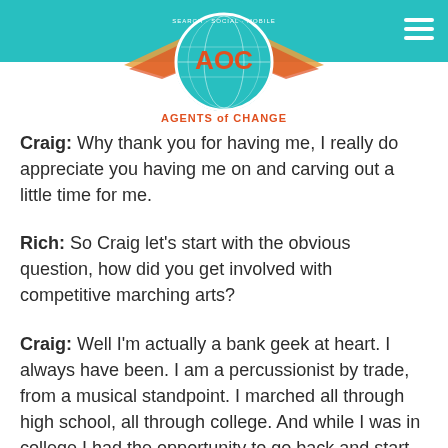[Figure (logo): AOC Agents of Change logo with wings, globe, and text 'SEARCH SOCIAL MOBILE AGENTS of CHANGE']
Craig: Why thank you for having me, I really do appreciate you having me on and carving out a little time for me.
Rich: So Craig let's start with the obvious question, how did you get involved with competitive marching arts?
Craig: Well I'm actually a bank geek at heart. I always have been. I am a percussionist by trade, from a musical standpoint. I marched all through high school, all through college. And while I was in college I had the opportunity to go back and start teaching at my high school alma mater. So while teaching there I kind of found an affinity for music education, teaching kids, and whatnot.